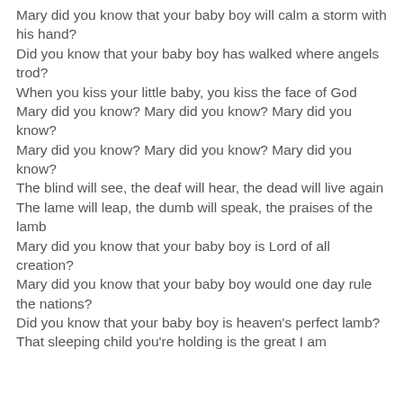Mary did you know that your baby boy will calm a storm with his hand?
Did you know that your baby boy has walked where angels trod?
When you kiss your little baby, you kiss the face of God
Mary did you know? Mary did you know? Mary did you know?
Mary did you know? Mary did you know? Mary did you know?
The blind will see, the deaf will hear, the dead will live again
The lame will leap, the dumb will speak, the praises of the lamb
Mary did you know that your baby boy is Lord of all creation?
Mary did you know that your baby boy would one day rule the nations?
Did you know that your baby boy is heaven's perfect lamb?
That sleeping child you're holding is the great I am